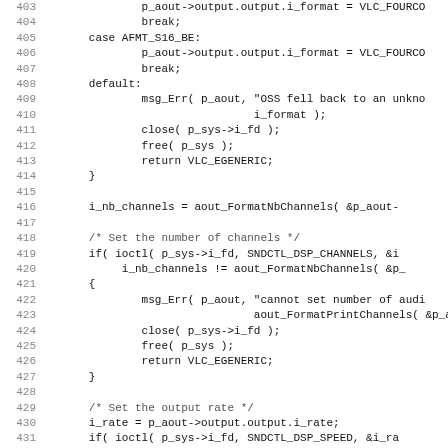[Figure (screenshot): Source code listing showing C code lines 403-435, including switch/case statements for audio format handling, ioctl calls for DSP channels and speed, and error handling with msg_Err, close, free, and return VLC_EGENERIC.]